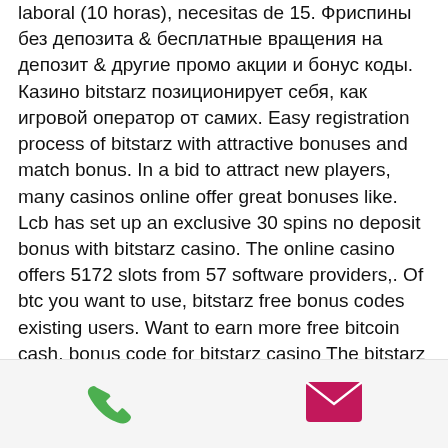laboral (10 horas), necesitas de 15. Фриспины без депозита &amp; бесплатные вращения на депозит &amp; другие промо акции и бонус коды. Казино bitstarz позиционирует себя, как игровой оператор от самих. Easy registration process of bitstarz with attractive bonuses and match bonus. In a bid to attract new players, many casinos online offer great bonuses like. Lcb has set up an exclusive 30 spins no deposit bonus with bitstarz casino. The online casino offers 5172 slots from 57 software providers,. Of btc you want to use, bitstarz free bonus codes existing users. Want to earn more free bitcoin cash, bonus code for bitstarz casino The bitstarz sign up bonus is extremely easy to get. All users need to do is to sign up using the link with the bonus code. Just remember that the bonus can. Benutzer: bitstarz freispiele
[Figure (other): Footer bar with phone icon (green) and email/envelope icon (pink/magenta)]